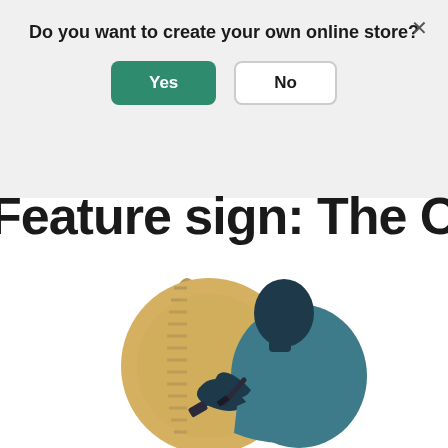Do you want to create your own online store?
Yes
No
Feature sign: The Outsider
[Figure (illustration): Illustration of a person in teal clothing using a hammer and chisel to engrave a large gold coin]